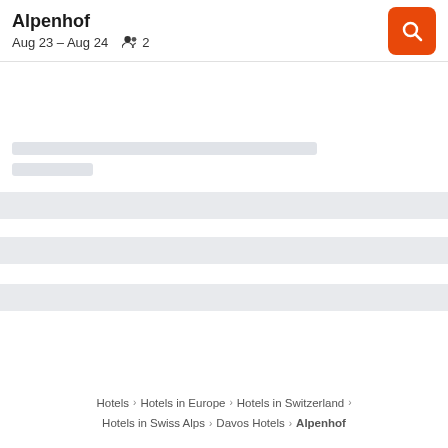Alpenhof
Aug 23 – Aug 24   👥 2
[Figure (screenshot): Loading skeleton placeholder bars indicating content is loading]
Hotels › Hotels in Europe › Hotels in Switzerland › Hotels in Swiss Alps › Davos Hotels › Alpenhof